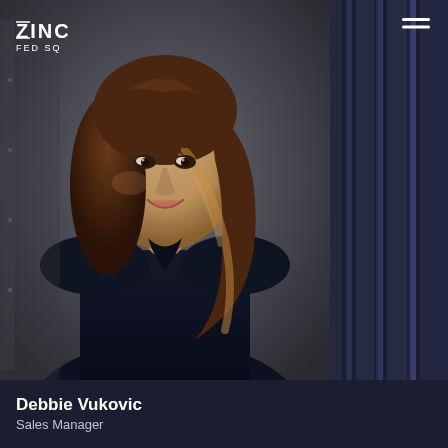[Figure (photo): Portrait photo of Debbie Vukovic, Sales Manager, a woman with long brown hair wearing a dark navy blouse, photographed against a dark grey background. The ZINC FED SQ logo appears in the top-left corner of the photo.]
Debbie Vukovic
Sales Manager